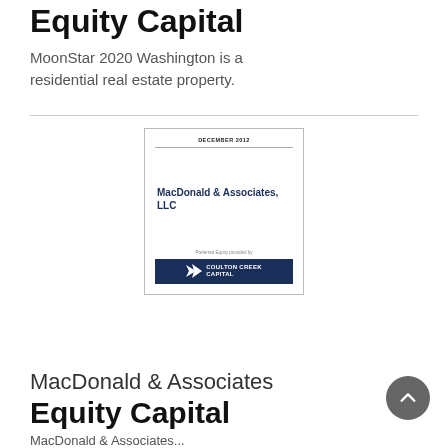Equity Capital
MoonStar 2020 Washington is a residential real estate property.
[Figure (other): Thumbnail of a financial document cover page dated DECEMBER 2012, featuring MacDonald & Associates, LLC with Preferred Equity provided by Coulton Creek Capital logo at the bottom.]
MacDonald & Associates
Equity Capital
MacDonald & Associates...